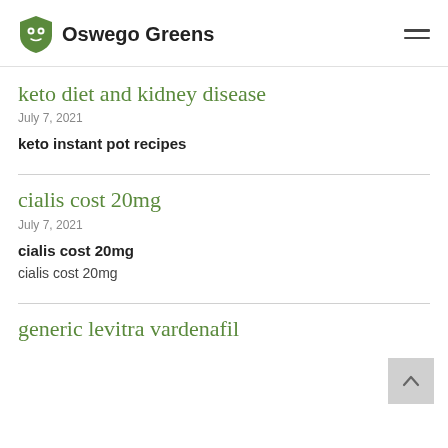Oswego Greens
keto diet and kidney disease
July 7, 2021
keto instant pot recipes
cialis cost 20mg
July 7, 2021
cialis cost 20mg
cialis cost 20mg
generic levitra vardenafil